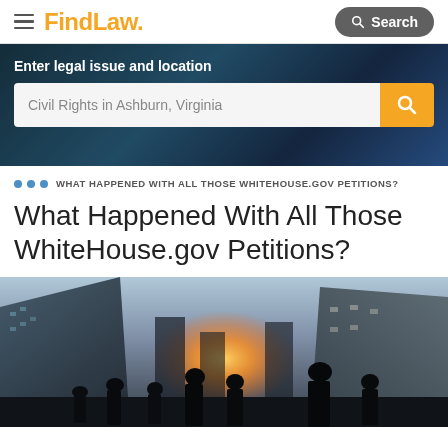FindLaw
[Figure (screenshot): FindLaw website hero search banner with dark blue abstract background. Shows 'Enter legal issue and location' label above a search bar with placeholder text 'Civil Rights in Ashburn, Virginia' and an orange search button.]
WHAT HAPPENED WITH ALL THOSE WHITEHOUSE.GOV PETITIONS?
What Happened With All Those WhiteHouse.gov Petitions?
[Figure (photo): Silhouetted people walking between buildings with a bright sun in the background, urban city scene with tall glass buildings on left and stone buildings on right.]